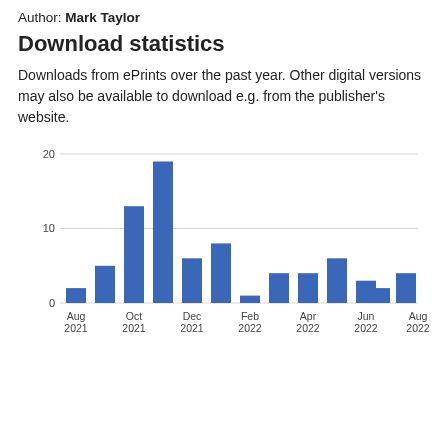Author: Mark Taylor
Download statistics
Downloads from ePrints over the past year. Other digital versions may also be available to download e.g. from the publisher's website.
[Figure (bar-chart): ]